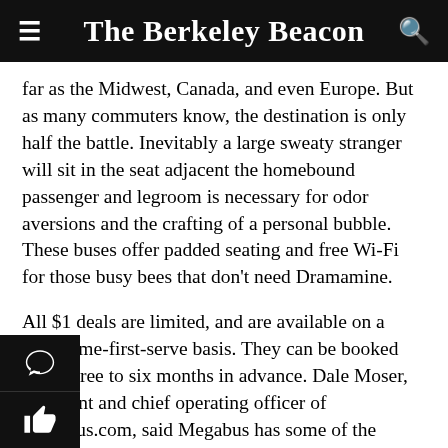The Berkeley Beacon
far as the Midwest, Canada, and even Europe. But as many commuters know, the destination is only half the battle. Inevitably a large sweaty stranger will sit in the seat adjacent the homebound passenger and legroom is necessary for odor aversions and the crafting of a personal bubble. These buses offer padded seating and free Wi-Fi for those busy bees that don't need Dramamine.
All $1 deals are limited, and are available on a first-come-first-serve basis. They can be booked from three to six months in advance. Dale Moser, president and chief operating officer of Megabus.com, said Megabus has some of the cheapest prices around.
hen the $1 tickets are gone, the pricing works its way up rementally in small blocks," said Moser. “But, the top in almost every case is still more economical than